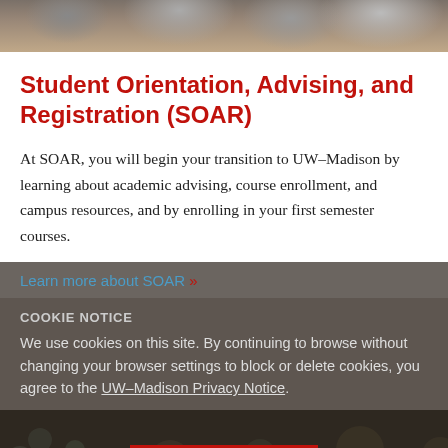[Figure (photo): Top strip showing students walking on a university campus, cropped to show legs and lower bodies]
Student Orientation, Advising, and Registration (SOAR)
At SOAR, you will begin your transition to UW–Madison by learning about academic advising, course enrollment, and campus resources, and by enrolling in your first semester courses.
Learn more about SOAR »
COOKIE NOTICE
We use cookies on this site. By continuing to browse without changing your browser settings to block or delete cookies, you agree to the UW–Madison Privacy Notice.
GOT IT!